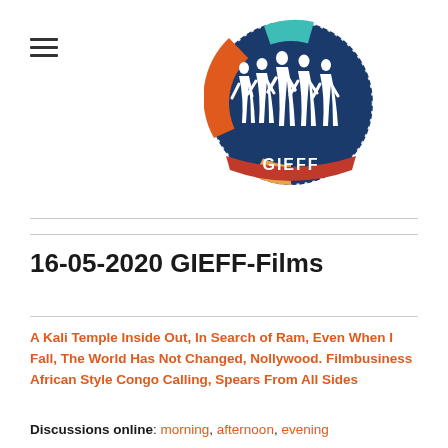[Figure (logo): GIEFF logo: circular emblem with dark navy blue background, white silhouettes of people in the center, orange arc on the left side, teal arc on the top, red ribbon at the bottom with 'GIEFF' text in white, white dotted border on right side]
16-05-2020 GIEFF-Films
A Kali Temple Inside Out, In Search of Ram, Even When I Fall, The World Has Not Changed, Nollywood. Filmbusiness African Style Congo Calling, Spears From All Sides
Discussions online: morning, afternoon, evening